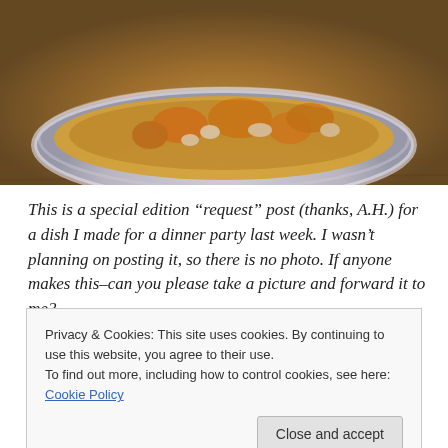[Figure (photo): Photo of a white bowl containing a stew or casserole dish with orange/yellow pieces (likely butternut squash or carrots) and white beans, placed on a wooden surface. Only the top portion of the bowl and food is visible.]
This is a special edition “request” post (thanks, A.H.) for a dish I made for a dinner party last week. I wasn’t planning on posting it, so there is no photo. If anyone makes this–can you please take a picture and forward it to me?
It comes from Jack Bishop’s A Year in a Vegetarian Kitchen. It’s vegan and delicious.
Privacy & Cookies: This site uses cookies. By continuing to use this website, you agree to their use.
To find out more, including how to control cookies, see here: Cookie Policy
2 tablespoons extra virgin olive oil